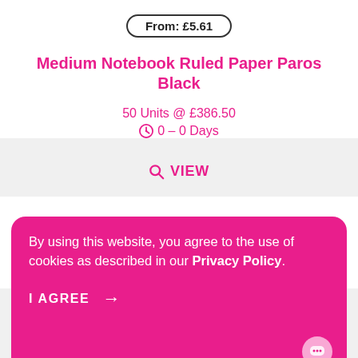From: £5.61
Medium Notebook Ruled Paper Paros Black
50 Units @ £386.50
0 – 0 Days
VIEW
[Figure (photo): Purple/dark notebook shown partially at the bottom of white card]
By using this website, you agree to the use of cookies as described in our Privacy Policy.
I AGREE →